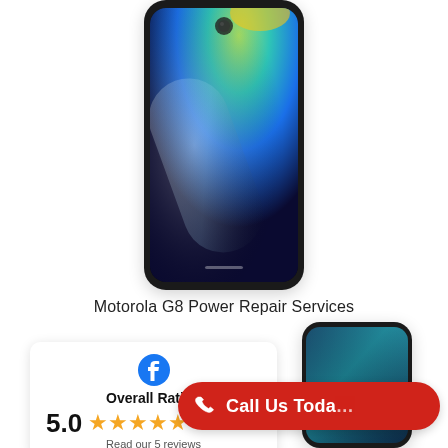[Figure (photo): Motorola G8 Power smartphone displayed front-facing, showing a blue-green gradient wallpaper screen, dark frame, centered at top of page]
Motorola G8 Power Repair Services
[Figure (infographic): Facebook rating widget card showing Overall Rating of 5.0 with 5 gold stars and 'Read our 5 reviews' link]
[Figure (photo): Second smartphone (possibly Samsung) displayed at right side, showing a blue gradient screen, partially visible]
[Figure (infographic): Red 'Call Us Today' button with phone icon, overlapping the bottom right of the page]